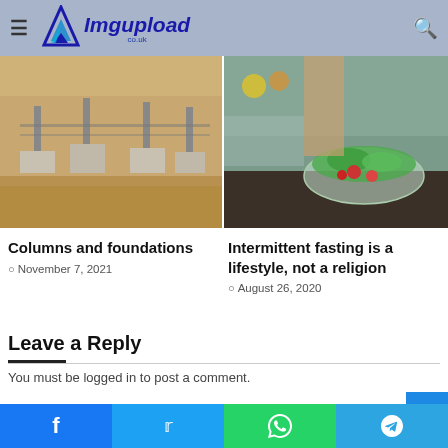Imgupload co.uk — navigation header with hamburger menu and search icon
[Figure (photo): Construction site photo showing concrete column footings and reinforcement bars in sandy ground]
[Figure (photo): Food photo showing a person tossing a salad in a glass bowl with tomatoes and greens on a dark table]
Columns and foundations
November 7, 2021
Intermittent fasting is a lifestyle, not a religion
August 26, 2020
Leave a Reply
You must be logged in to post a comment.
Recent Posts